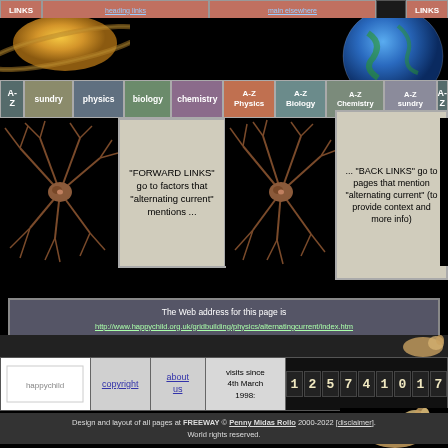LINKS | [heading links] | LINKS
[Figure (illustration): Saturn-like planet with ring on left, Earth globe on right, black background]
A-Z | sundry | physics | biology | chemistry | A-Z Physics | A-Z Biology | A-Z Chemistry | A-Z sundry | A-Z
[Figure (illustration): Neuron/nerve cell branching diagram on black background]
"FORWARD LINKS" go to factors that "alternating current" mentions ...
[Figure (illustration): Neuron/nerve cell branching diagram on black background (center)]
... "BACK LINKS" go to pages that mention "alternating current" (to provide context and more info)
[Figure (illustration): Neuron/nerve cell branching diagram on black background (right, partial)]
The Web address for this page is
http://www.happychild.org.uk/gridbuilding/physics/alternatingcurrent/index.htm
visits since 4th March 1998:
12574017
Design and layout of all pages at FREEWAY © Penny Midas Rollo 2000-2022 [disclaimer]. World rights reserved.